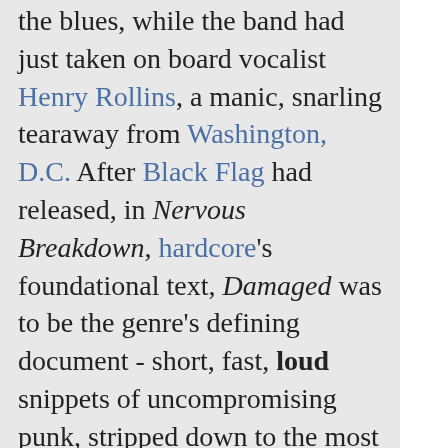the blues, while the band had just taken on board vocalist Henry Rollins, a manic, snarling tearaway from Washington, D.C. After Black Flag had released, in Nervous Breakdown, hardcore's foundational text, Damaged was to be the genre's defining document - short, fast, loud snippets of uncompromising punk, stripped down to the most basic elements and twisted beyond recognition by a ferociously angry teenager howling out the bleakest lyrics imaginable. Throw in a couple of hilarious, sardonic parodies of braindead modern culture and you have the ultimate statement of misspent